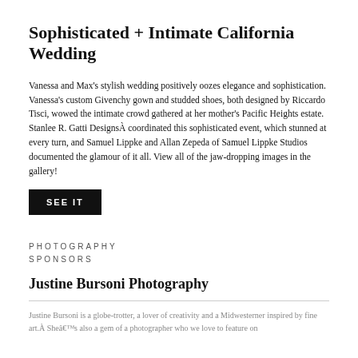Sophisticated + Intimate California Wedding
Vanessa and Max’s stylish wedding positively oozes elegance and sophistication. Vanessa’s custom Givenchy gown and studded shoes, both designed by Riccardo Tisci, wowed the intimate crowd gathered at her mother’s Pacific Heights estate. Stanlee R. Gatti DesignsÀ coordinated this sophisticated event, which stunned at every turn, and Samuel Lippke and Allan Zepeda of Samuel Lippke Studios documented the glamour of it all. View all of the jaw-dropping images in the gallery!
SEE IT
PHOTOGRAPHY
SPONSORS
Justine Bursoni Photography
Justine Bursoni is a globe-trotter, a lover of creativity and a Midwesterner inspired by fine art.À Sheâ€™s also a gem of a photographer who we love to feature on